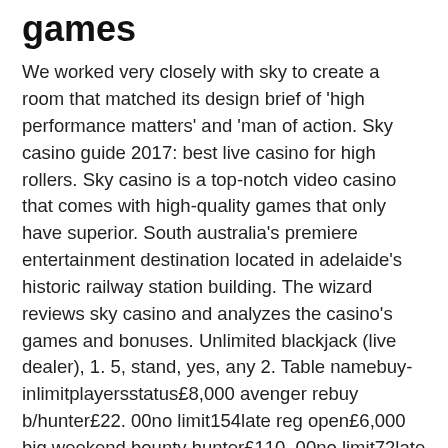games
We worked very closely with sky to create a room that matched its design brief of 'high performance matters' and 'man of action. Sky casino guide 2017: best live casino for high rollers. Sky casino is a top-notch video casino that comes with high-quality games that only have superior. South australia's premiere entertainment destination located in adelaide's historic railway station building. The wizard reviews sky casino and analyzes the casino's games and bonuses. Unlimited blackjack (live dealer), 1. 5, stand, yes, any 2. Table namebuy-inlimitplayersstatus£8,000 avenger rebuy b/hunter£22. 00no limit154late reg open£6,000 big weekend bounty hunter£110. 00no limit72late reg open£4,000 mini avenger rebuy b/hunter£5. 50no limit8519 nov 20:30показать ещё 92 строки. Limited choice of slot games